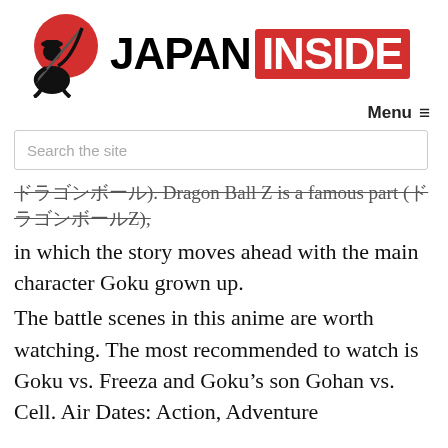[Figure (logo): Japan Inside website logo: samurai figure with sword in front of a red circle on the left, and the text 'JAPAN' in black bold letters followed by 'INSIDE' in white bold letters on a red rectangle background.]
Menu ≡
Search the site
ドラゴンボール). Dragon Ball Z is a famous part (ドラゴンボールZ), in which the story moves ahead with the main character Goku grown up.
The battle scenes in this anime are worth watching. The most recommended to watch is Goku vs. Freeza and Goku's son Gohan vs. Cell. Air Dates: Action, Adventure